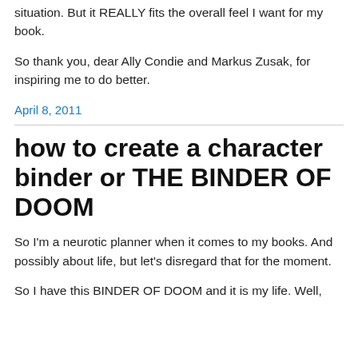situation. But it REALLY fits the overall feel I want for my book.
So thank you, dear Ally Condie and Markus Zusak, for inspiring me to do better.
April 8, 2011
how to create a character binder or THE BINDER OF DOOM
So I'm a neurotic planner when it comes to my books. And possibly about life, but let's disregard that for the moment.
So I have this BINDER OF DOOM and it is my life. Well,